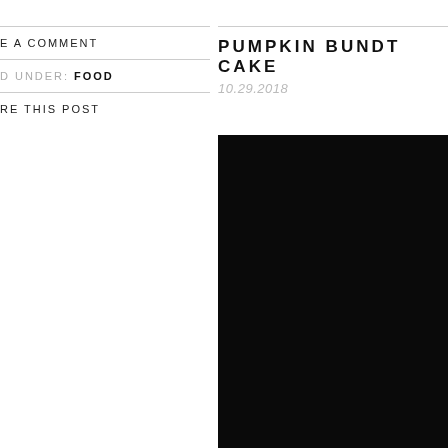E A COMMENT
D UNDER: FOOD
RE THIS POST
PUMPKIN BUNDT CAKE
10.29.2018
[Figure (photo): Dark/black photograph of a pumpkin bundt cake]